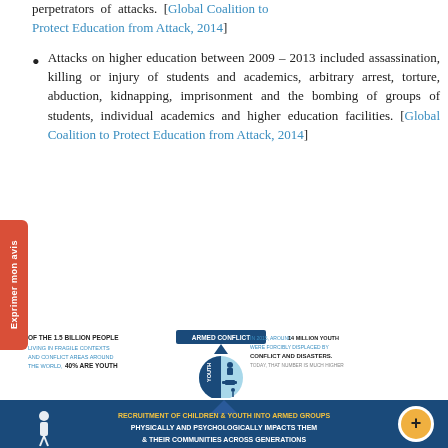perpetrators of attacks. [Global Coalition to Protect Education from Attack, 2014]
Attacks on higher education between 2009 – 2013 included assassination, killing or injury of students and academics, arbitrary arrest, torture, abduction, kidnapping, imprisonment and the bombing of groups of students, individual academics and higher education facilities. [Global Coalition to Protect Education from Attack, 2014]
[Figure (infographic): Infographic showing Armed Conflict and Youth. Left side: 'Of the 1.5 billion people living in fragile contexts and conflict areas around the world, 40% are youth'. Center: circular diagram with 'Youth' label, dark blue and light blue sections with icons. Right side: 'In 2015, around 14 million youth were forcibly displaced by conflict and disasters. Today, that number is much higher'.]
[Figure (infographic): Dark blue banner: 'Recruitment of children & youth into armed groups physically and psychologically impacts them & their communities across generations' with a white figure icon on left and a circular plus icon on right.]